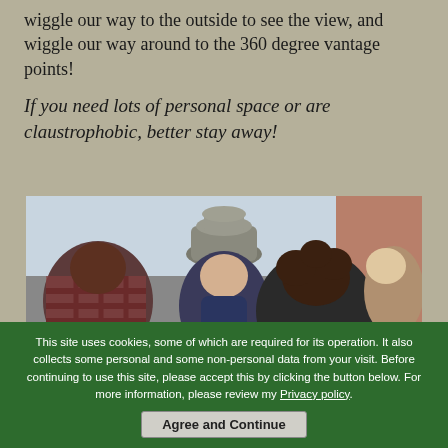wiggle our way to the outside to see the view, and wiggle our way around to the 360 degree vantage points!
If you need lots of personal space or are claustrophobic, better stay away!
[Figure (photo): Group of people crowded together looking up at a decorative stone urn or architectural element on a building exterior, viewed from behind]
This site uses cookies, some of which are required for its operation. It also collects some personal and some non-personal data from your visit. Before continuing to use this site, please accept this by clicking the button below. For more information, please review my Privacy policy.
Agree and Continue